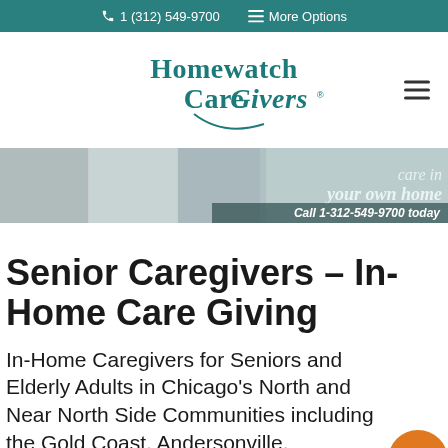1 (312) 549-9700   More Options
[Figure (logo): Homewatch CareGivers logo in teal/dark green color]
[Figure (photo): Hero banner with photos of caregivers and elderly adults, with overlaid text: 'care in your own home' and 'Call 1-312-549-9700 today']
Senior Caregivers – In-Home Care Giving
In-Home Caregivers for Seniors and Elderly Adults in Chicago's North and Near North Side Communities including the Gold Coast, Andersonville, Lakeview, Lincoln Park,